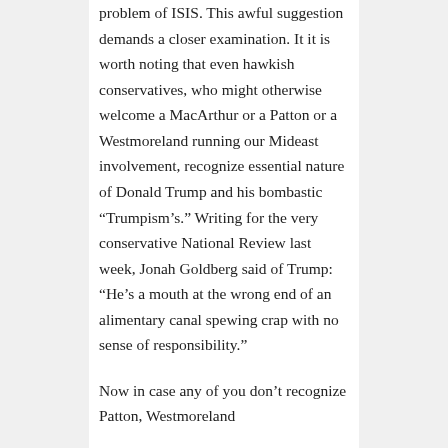problem of ISIS. This awful suggestion demands a closer examination. It it is worth noting that even hawkish conservatives, who might otherwise welcome a MacArthur or a Patton or a Westmoreland running our Mideast involvement, recognize essential nature of Donald Trump and his bombastic “Trumpism’s.” Writing for the very conservative National Review last week, Jonah Goldberg said of Trump: “He’s a mouth at the wrong end of an alimentary canal spewing crap with no sense of responsibility.”
Now in case any of you don’t recognize Patton, Westmoreland